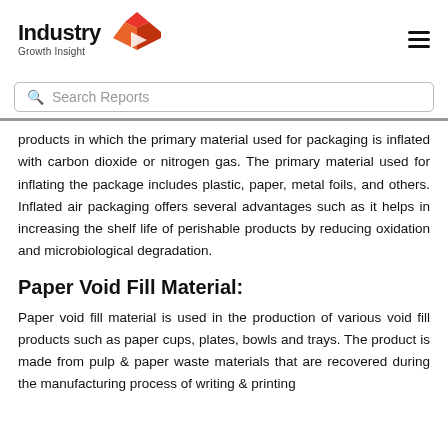Industry Growth Insight
products in which the primary material used for packaging is inflated with carbon dioxide or nitrogen gas. The primary material used for inflating the package includes plastic, paper, metal foils, and others. Inflated air packaging offers several advantages such as it helps in increasing the shelf life of perishable products by reducing oxidation and microbiological degradation.
Paper Void Fill Material:
Paper void fill material is used in the production of various void fill products such as paper cups, plates, bowls and trays. The product is made from pulp & paper waste materials that are recovered during the manufacturing process of writing & printing